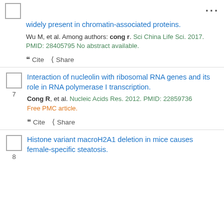...
widely present in chromatin-associated proteins.
Wu M, et al. Among authors: cong r. Sci China Life Sci. 2017. PMID: 28405795 No abstract available.
Cite  Share
Interaction of nucleolin with ribosomal RNA genes and its role in RNA polymerase I transcription.
Cong R, et al. Nucleic Acids Res. 2012. PMID: 22859736 Free PMC article.
Cite  Share
Histone variant macroH2A1 deletion in mice causes female-specific steatosis.